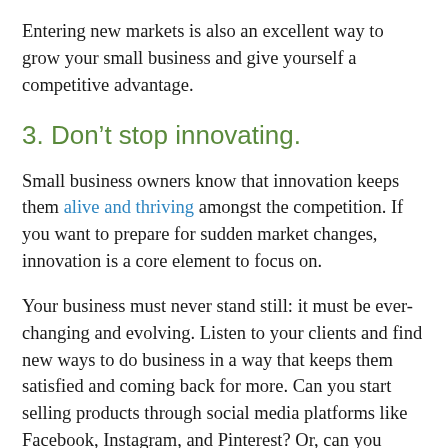Entering new markets is also an excellent way to grow your small business and give yourself a competitive advantage.
3. Don’t stop innovating.
Small business owners know that innovation keeps them alive and thriving amongst the competition. If you want to prepare for sudden market changes, innovation is a core element to focus on.
Your business must never stand still: it must be ever-changing and evolving. Listen to your clients and find new ways to do business in a way that keeps them satisfied and coming back for more. Can you start selling products through social media platforms like Facebook, Instagram, and Pinterest? Or, can you build